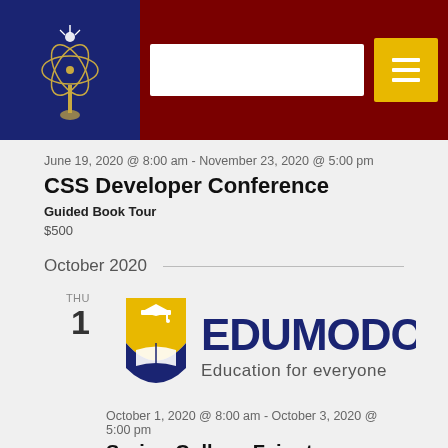[Figure (logo): Website header with dark blue logo box containing an atom/torch icon, dark red background, white search bar, and yellow hamburger menu button]
June 19, 2020 @ 8:00 am - November 23, 2020 @ 5:00 pm
CSS Developer Conference
Guided Book Tour
$500
October 2020
THU
1
[Figure (logo): Edumodo logo: gold and navy blue shield with graduation cap and open book, text EDUMODO with tagline Education for everyone]
October 1, 2020 @ 8:00 am - October 3, 2020 @ 5:00 pm
Spring College Fair at Westwood High School
Guided Book Tour